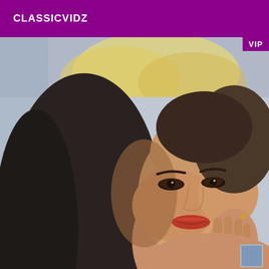CLASSICVIDZ
VIP
[Figure (photo): Close-up selfie of a young woman with long dark hair, wearing makeup including dark eyeliner and red/coral lipstick, posing with her hand near her chin. Background shows a room with an illuminated cloud-shaped ceiling light.]